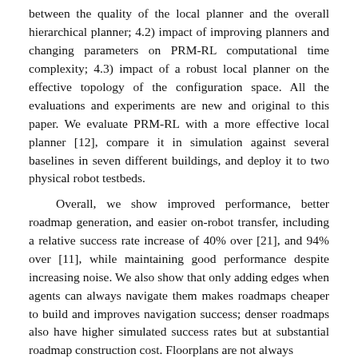between the quality of the local planner and the overall hierarchical planner; 4.2) impact of improving planners and changing parameters on PRM-RL computational time complexity; 4.3) impact of a robust local planner on the effective topology of the configuration space. All the evaluations and experiments are new and original to this paper. We evaluate PRM-RL with a more effective local planner [12], compare it in simulation against several baselines in seven different buildings, and deploy it to two physical robot testbeds.
Overall, we show improved performance, better roadmap generation, and easier on-robot transfer, including a relative success rate increase of 40% over [21], and 94% over [11], while maintaining good performance despite increasing noise. We also show that only adding edges when agents can always navigate them makes roadmaps cheaper to build and improves navigation success; denser roadmaps also have higher simulated success rates but at substantial roadmap construction cost. Floorplans are not always